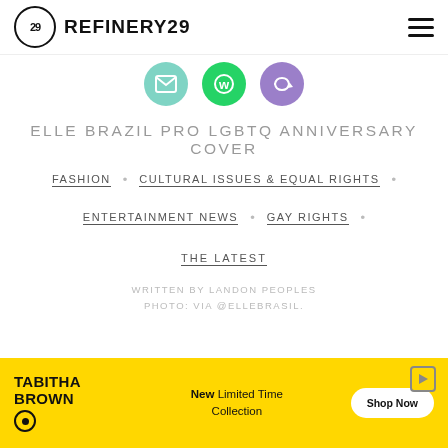REFINERY29
[Figure (illustration): Three social share icon circles: teal email icon, green WhatsApp icon, purple refresh/share icon]
ELLE BRAZIL PRO LGBTQ ANNIVERSARY COVER
FASHION
CULTURAL ISSUES & EQUAL RIGHTS
ENTERTAINMENT NEWS
GAY RIGHTS
THE LATEST
WRITTEN BY LANDON PEOPLES
PHOTO: VIA @ELLEBRASIL.
[Figure (illustration): Advertisement banner for Tabitha Brown collection on yellow background with Shop Now button]